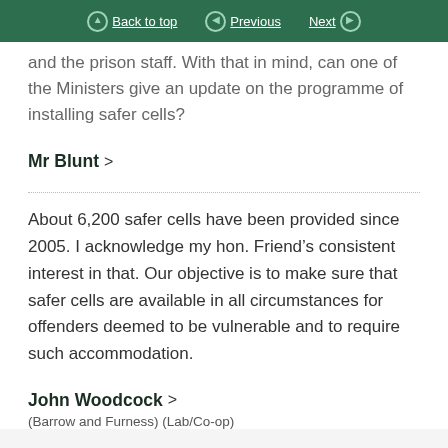Back to top | Previous | Next
and the prison staff. With that in mind, can one of the Ministers give an update on the programme of installing safer cells?
Mr Blunt >
About 6,200 safer cells have been provided since 2005. I acknowledge my hon. Friend's consistent interest in that. Our objective is to make sure that safer cells are available in all circumstances for offenders deemed to be vulnerable and to require such accommodation.
John Woodcock >
(Barrow and Furness) (Lab/Co-op)